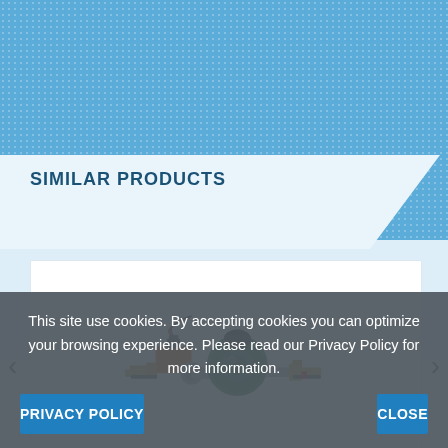SIMILAR PRODUCTS
[Figure (photo): Industrial pump assembly with green circulator pump, orange motorized valve actuator, and brass fittings/connectors]
This site use cookies. By accepting cookies you can optimize your browsing experience. Please read our Privacy Policy for more information.
PRIVACY POLICY
CLOSE